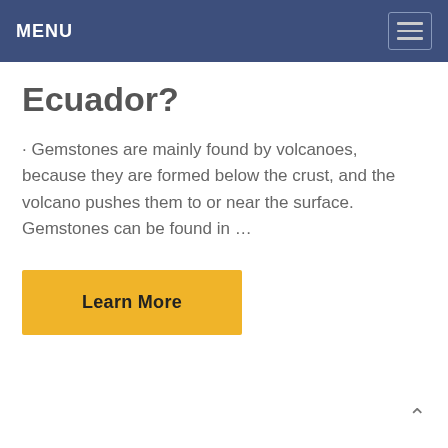MENU
Ecuador?
· Gemstones are mainly found by volcanoes, because they are formed below the crust, and the volcano pushes them to or near the surface. Gemstones can be found in …
Learn More